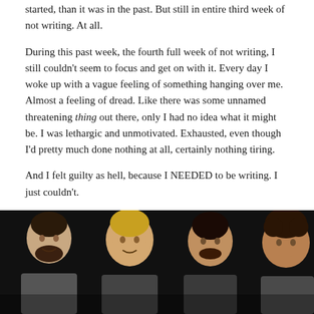...started, than it was in the past. But still in entire third week of not writing. At all.
During this past week, the fourth full week of not writing, I still couldn't seem to focus and get on with it. Every day I woke up with a vague feeling of something hanging over me. Almost a feeling of dread. Like there was some unnamed threatening thing out there, only I had no idea what it might be. I was lethargic and unmotivated. Exhausted, even though I'd pretty much done nothing at all, certainly nothing tiring.
And I felt guilty as hell, because I NEEDED to be writing. I just couldn't.
[Figure (photo): Photo of four men (actors) sitting side by side against a dark background, appearing to be at a panel or press event.]